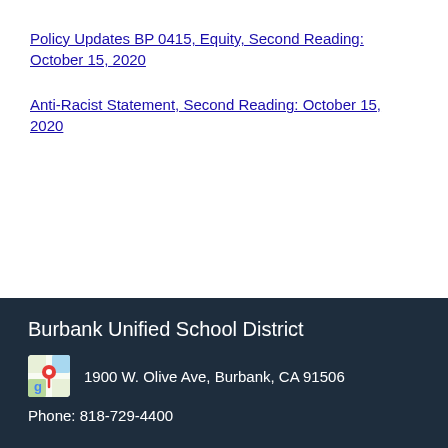Policy Updates BP 0415, Equity, Second Reading: October 15, 2020
Anti-Racist Statement, Second Reading: October 15, 2020
Burbank Unified School District
1900 W. Olive Ave, Burbank, CA 91506
Phone: 818-729-4400